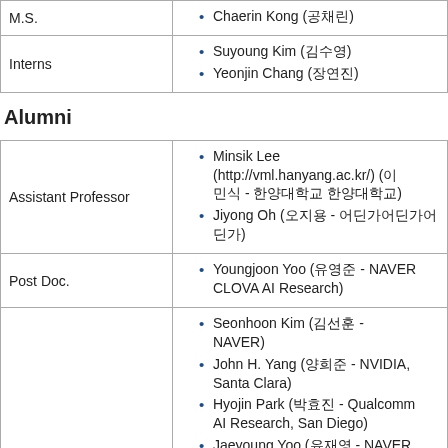| Role | Members |
| --- | --- |
| M.S. | Chaerin Kong (공채린) |
| Interns | Suyoung Kim (김수영)
Yeonjin Chang (장연진) |
Alumni
| Role | Members |
| --- | --- |
| Assistant Professor | Minsik Lee (http://vml.hanyang.ac.kr/) (이민식 - 한양대학교 한양대학교)
Jiyong Oh (오지용 - 어딘가어딘가어딘가) |
| Post Doc. | Youngjoon Yoo (유영준 - NAVER CLOVA AI Research) |
|  | Seonhoon Kim (김선훈 - NAVER)
John H. Yang (양희준 - NVIDIA, Santa Clara)
Hyojin Park (박효진 - Qualcomm AI Research, San Diego)
Jaeyoung Yoo (유재영 - NAVER Webtoon) |